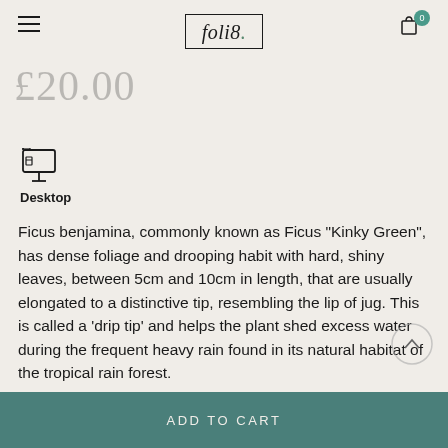foli8.
£20.00
[Figure (illustration): Desktop/monitor icon]
Desktop
Ficus benjamina, commonly known as Ficus "Kinky Green", has dense foliage and drooping habit with hard, shiny leaves, between 5cm and 10cm in length, that are usually elongated to a distinctive tip, resembling the lip of jug. This is called a 'drip tip' and helps the plant shed excess water during the frequent heavy rain found in its natural habitat of the tropical rain forest.
ADD TO CART